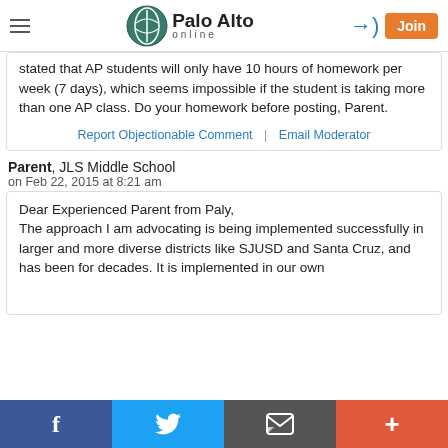Palo Alto online
stated that AP students will only have 10 hours of homework per week (7 days), which seems impossible if the student is taking more than one AP class. Do your homework before posting, Parent.
Report Objectionable Comment | Email Moderator
Parent, JLS Middle School
on Feb 22, 2015 at 8:21 am
Dear Experienced Parent from Paly, The approach I am advocating is being implemented successfully in larger and more diverse districts like SJUSD and Santa Cruz, and has been for decades. It is implemented in our own